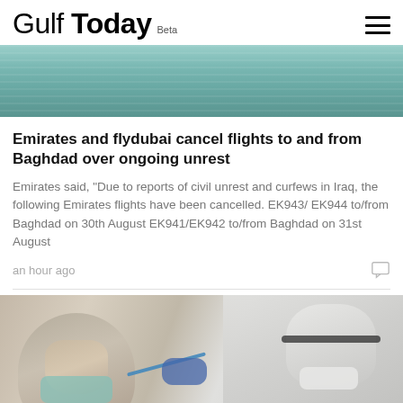Gulf Today Beta
[Figure (photo): Aerial or landscape photo with teal/blue-green tones, appears to show a body of water or flat terrain from above]
Emirates and flydubai cancel flights to and from Baghdad over ongoing unrest
Emirates said, “Due to reports of civil unrest and curfews in Iraq, the following Emirates flights have been cancelled. EK943/ EK944 to/from Baghdad on 30th August EK941/EK942 to/from Baghdad on 31st August
an hour ago
[Figure (photo): A healthcare worker in full PPE (white protective suit, face shield, mask) administering a nasal swab test to a patient wearing a hijab and face mask]